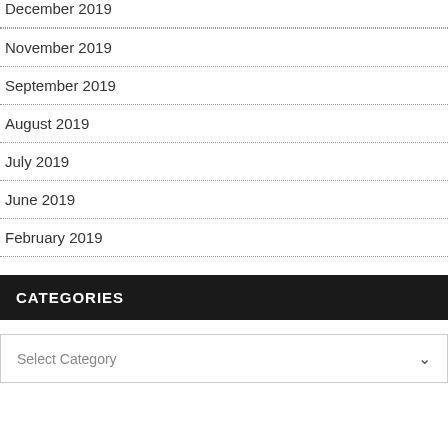December 2019
November 2019
September 2019
August 2019
July 2019
June 2019
February 2019
CATEGORIES
Select Category